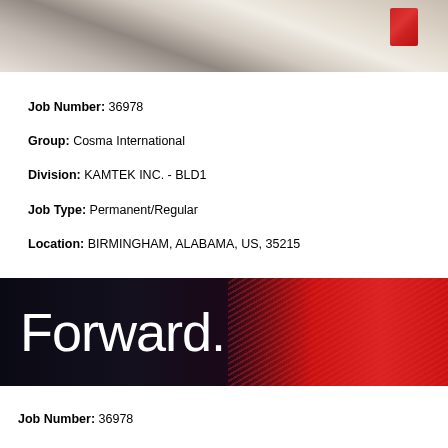[Figure (photo): Photo of people in white clothing, possibly chefs or workers, with a red drink and cake in the background]
Job Number:  36978
Group:  Cosma International
Division:  KAMTEK INC. - BLD1
Job Type:  Permanent/Regular
Location:  BIRMINGHAM, ALABAMA, US, 35215
[Figure (photo): Banner image with dark background on the left and red streaks of light on the right, with large white text reading 'Forward.']
Job Number: 36978
Group: Cosma International
Division: KAMTEK INC. - BLD1
Job Type: Permanent/Regular